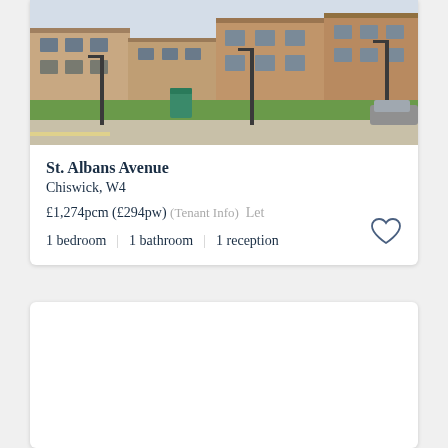[Figure (photo): Street-level photo of brick residential buildings on St. Albans Avenue, Chiswick W4, with green grass verge, pavement, lamp posts]
St. Albans Avenue
Chiswick, W4
£1,274pcm (£294pw) (Tenant Info)  Let
1 bedroom  |  1 bathroom  |  1 reception
[Figure (photo): Second property card — image area blank/loading]